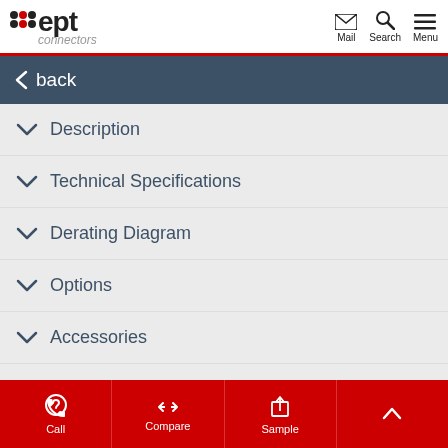ept connectors — Mail, Search, Menu
back
Description
Technical Specifications
Derating Diagram
Options
Accessories
Modifications
Call  Compare  Sample  (up)